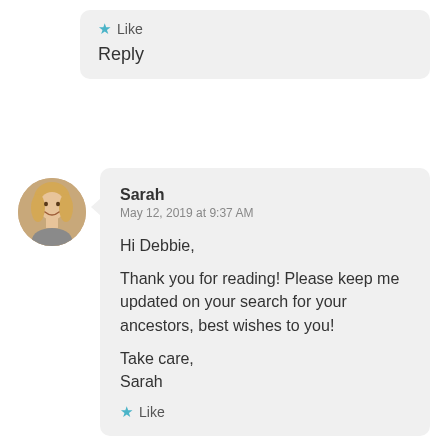Like
Reply
[Figure (photo): Circular avatar photo of a woman with blonde hair smiling]
Sarah
May 12, 2019 at 9:37 AM
Hi Debbie,

Thank you for reading! Please keep me updated on your search for your ancestors, best wishes to you!

Take care,
Sarah
Like